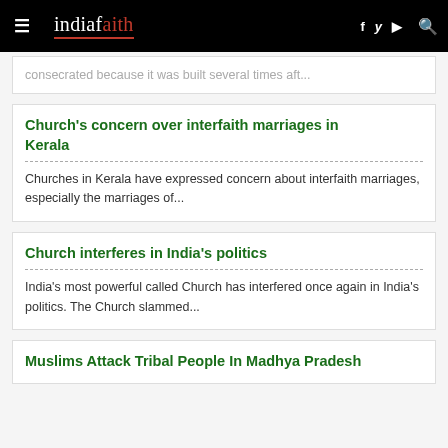indiafaith
consecrated because it was built several times aft...
Church's concern over interfaith marriages in Kerala
Churches in Kerala have expressed concern about interfaith marriages, especially the marriages of...
Church interferes in India's politics
India's most powerful called Church has interfered once again in India's politics. The Church slammed...
Muslims Attack Tribal People In Madhya Pradesh